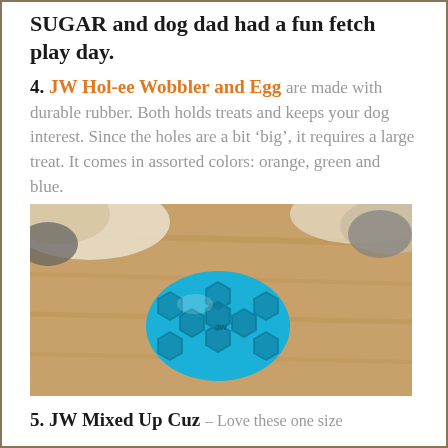SUGAR and dog dad had a fun fetch play day.
4. JW Hol-ee Wobbler and Egg are made with durable rubber. Both holds treats and keeps your dog interest. Since the holes are a bit 'big', it requires a large treat. It comes in assorted colors: orange, green and blue.
[Figure (photo): A blue JW Hol-ee Wobbler rubber toy (egg-shaped with hexagonal holes) resting on a wooden floor next to a dog's snout and fur.]
5. JW Mixed Up Cuz – Love these one size